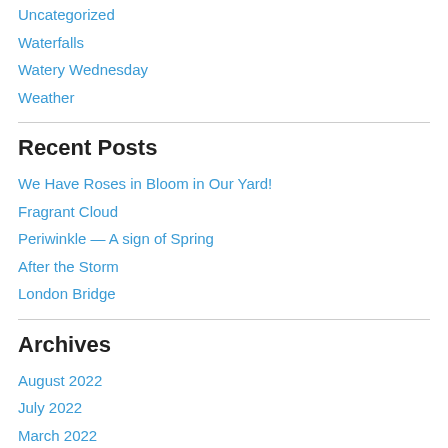Uncategorized
Waterfalls
Watery Wednesday
Weather
Recent Posts
We Have Roses in Bloom in Our Yard!
Fragrant Cloud
Periwinkle — A sign of Spring
After the Storm
London Bridge
Archives
August 2022
July 2022
March 2022